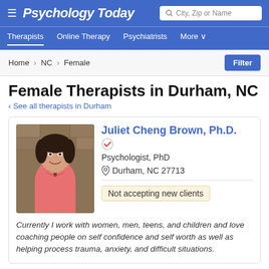Psychology Today — City, Zip or Name
Therapists | Online Therapy | Psychiatrists | More
Home > NC > Female
Female Therapists in Durham, NC
< See all therapists in Durham
[Figure (photo): Profile photo of Juliet Cheng Brown, a woman with short dark hair wearing a pink top, smiling, with a stone wall background.]
Juliet Cheng Brown, Ph.D.
Psychologist, PhD
Durham, NC 27713
Not accepting new clients
Currently I work with women, men, teens, and children and love coaching people on self confidence and self worth as well as helping process trauma, anxiety, and difficult situations.